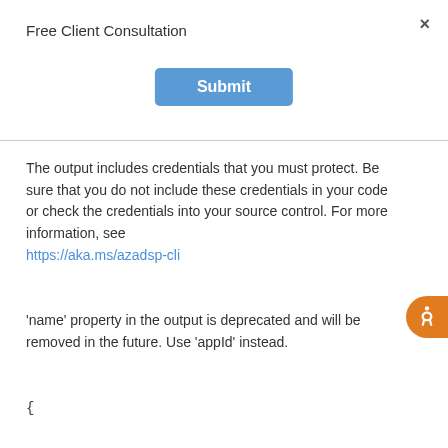Free Client Consultation
Submit
The output includes credentials that you must protect. Be sure that you do not include these credentials in your code or check the credentials into your source control. For more information, see https://aka.ms/azadsp-cli
'name' property in the output is deprecated and will be removed in the future. Use 'appId' instead.
{